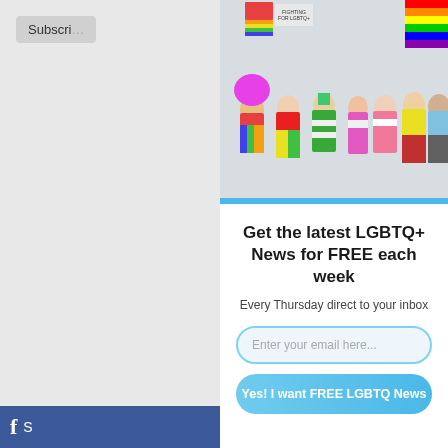[Figure (screenshot): Partial subscribe button visible in top-left of sidebar]
[Figure (photo): Group of diverse people celebrating LGBTQ+ Pride, holding signs and rainbow flags, wearing colorful outfits]
[Figure (photo): Thumbnail: nighttime photo of a building with palm trees and neon sign]
[Figure (photo): Thumbnail: woman speaking, appears to be in a formal setting]
[Figure (photo): Thumbnail: police cars on a street with NEWS banner]
Get the latest LGBTQ+ News for FREE each week
Every Thursday direct to your inbox
Enter your email here...
Yes! I want FREE LGBTQ News
f S